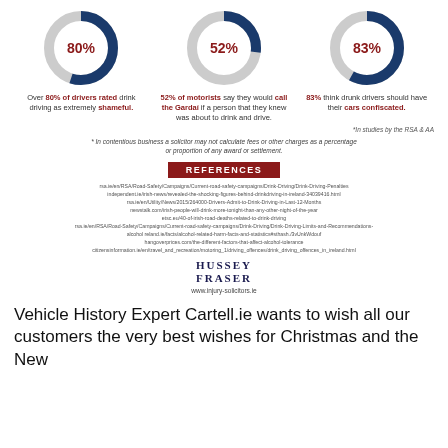[Figure (donut-chart): 80% drivers rated drink driving shameful]
[Figure (donut-chart): 52% motorists call Gardai]
[Figure (donut-chart): 83% think drunk drivers should have cars confiscated]
Over 80% of drivers rated drink driving as extremely shameful.
52% of motorists say they would call the Gardaí if a person that they knew was about to drink and drive.
83% think drunk drivers should have their cars confiscated.
*In studies by the RSA & AA
* In contentious business a solicitor may not calculate fees or other charges as a percentage or proportion of any award or settlement.
REFERENCES
rsa.ie/en/RSA/Road-Safety/Campaigns/Current-road-safety-campaigns/Drink-Driving/Drink-Driving-Penalties independent.ie/irish-news/revealed-the-shocking-figures-behind-drinkdriving-in-ireland-34039416.html rsa.ie/en/Utility/News/2015/264000-Drivers-Admit-to-Drink-Driving-in-Last-12-Months newstalk.com/irish-people-will-drink-more-tonight-than-any-other-night-of-the-year etsc.eu/40-of-irish-road-deaths-related-to-drink-driving rsa.ie/en/RSA/Road-Safety/Campaigns/Current-road-safety-campaigns/Drink-Driving/Drink-Driving-Limits-and-Recommendations- alcohol reland.ie/facts/alcohol-related-harm-facts-and-statistics#sthash./3vUnkWdouf hangoverprices.com/the-different-factors-that-affect-alcohol-tolerance citizensinformation.ie/en/travel_and_recreation/motoring_1/driving_offences/drink_driving_offences_in_ireland.html
HUSSEY FRASER
www.injury-solicitors.ie
Vehicle History Expert Cartell.ie wants to wish all our customers the very best wishes for Christmas and the New